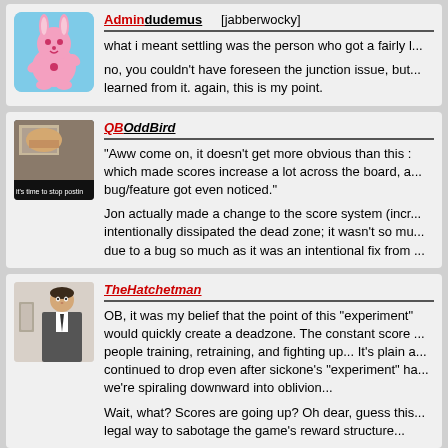[Figure (screenshot): Forum post from Admindudemus with pink bunny avatar. Username shows 'Admin' in red underline and 'dudemus' in black underline, followed by '[jabberwocky]'. Post text: 'what i meant settling was the person who got a fairly l...' and 'no, you couldn't have foreseen the junction issue, but... learned from it. again, this is my point.']
[Figure (screenshot): Forum post from QBOddBird with 'it's time to stop posting' meme avatar. Username 'QB' in red italic underline and 'OddBird' in black italic underline. Post text includes a quote and commentary about score system changes.]
[Figure (screenshot): Forum post from TheHatchetman with photo avatar of a man in a suit. Username in red italic underline. Post text about experiment, deadzone, scores dropping and going up.]